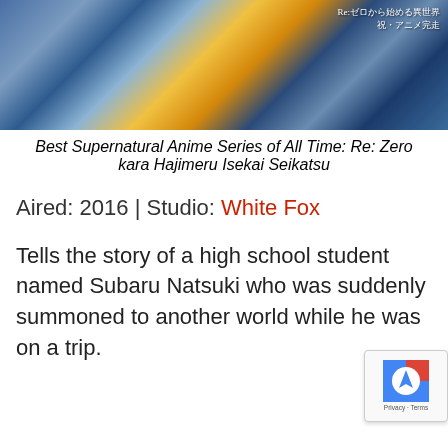[Figure (illustration): Anime promotional image for Re: Zero kara Hajimeru Isekai Seikatsu with Japanese text overlay reading Re:ゼロから始める異世界 祝・アニメ完走]
Best Supernatural Anime Series of All Time: Re: Zero kara Hajimeru Isekai Seikatsu
Aired: 2016 | Studio: White Fox
Tells the story of a high school student named Subaru Natsuki who was suddenly summoned to another world while he was on a trip.